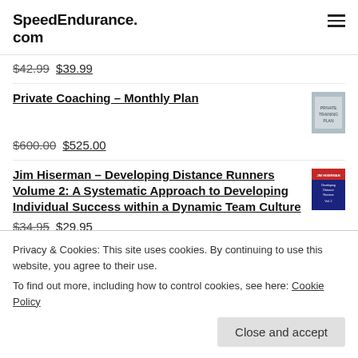SpeedEndurance.com
$42.99 $39.99
Private Coaching - Monthly Plan
$600.00 $525.00
Jim Hiserman - Developing Distance Runners Volume 2: A Systematic Approach to Developing Individual Success within a Dynamic Team Culture
$34.95 $29.95
Privacy & Cookies: This site uses cookies. By continuing to use this website, you agree to their use.
To find out more, including how to control cookies, see here: Cookie Policy
Close and accept
$49.99